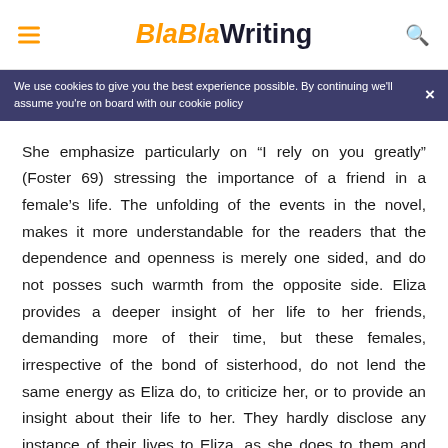BlaBlaWriting
We use cookies to give you the best experience possible. By continuing we'll assume you're on board with our cookie policy
She emphasize particularly on “I rely on you greatly” (Foster 69) stressing the importance of a friend in a female’s life. The unfolding of the events in the novel, makes it more understandable for the readers that the dependence and openness is merely one sided, and do not posses such warmth from the opposite side. Eliza provides a deeper insight of her life to her friends, demanding more of their time, but these females, irrespective of the bond of sisterhood, do not lend the same energy as Eliza do, to criticize her, or to provide an insight about their life to her. They hardly disclose any instance of their lives to Eliza, as she does to them and keeps much of it to them.